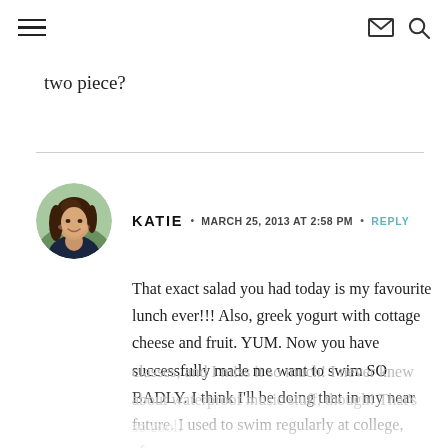≡  ✉ 🔍
two piece?
KATIE  •  MARCH 25, 2013 AT 2:58 PM  •  REPLY

That exact salad you had today is my favourite lunch ever!!! Also, greek yogurt with cottage cheese and fruit. YUM. Now you have successfully made me want to swim SO BADLY. I think I'll be doing that in my near future. I used to swim regularly at college, after my classes, and I miss it so much! I never knew about waterproof music stuff, though! That's so cool!